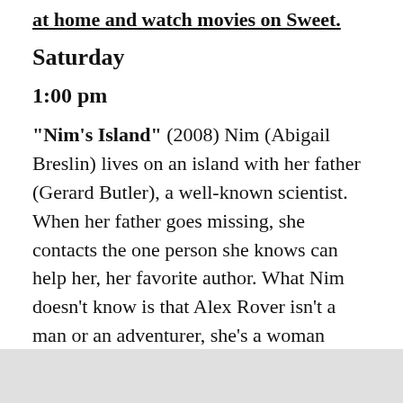at home and watch movies on Sweet.
Saturday
1:00 pm
"Nim's Island" (2008) Nim (Abigail Breslin) lives on an island with her father (Gerard Butler), a well-known scientist. When her father goes missing, she contacts the one person she knows can help her, her favorite author. What Nim doesn't know is that Alex Rover isn't a man or an adventurer, she's a woman (Jodie Foster) and agoraphobic (fear of being in risky places).
3:00 pm